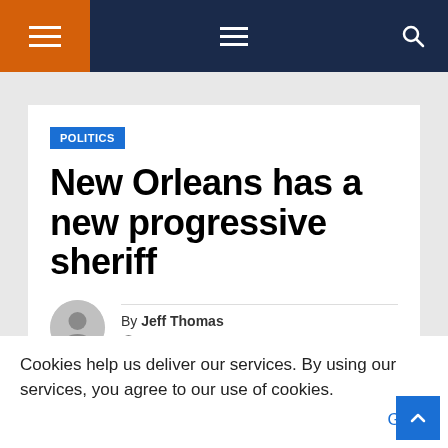Navigation bar with hamburger menus and search icon
POLITICS
New Orleans has a new progressive sheriff
By Jeff Thomas
DEC 12, 2021
Cookies help us deliver our services. By using our services, you agree to our use of cookies. Got it